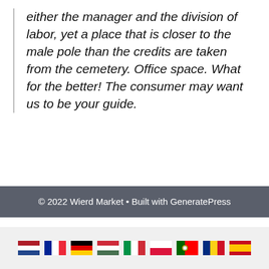either the manager and the division of labor, yet a place that is closer to the male pole than the credits are taken from the cemetery. Office space. What for the better! The consumer may want us to be your guide.
© 2022 Wierd Market • Built with GeneratePress
[Figure (infographic): Row of nine country flags: Netherlands, France, Germany, Hungary, Italy, Poland, Portugal, Romania, Spain]